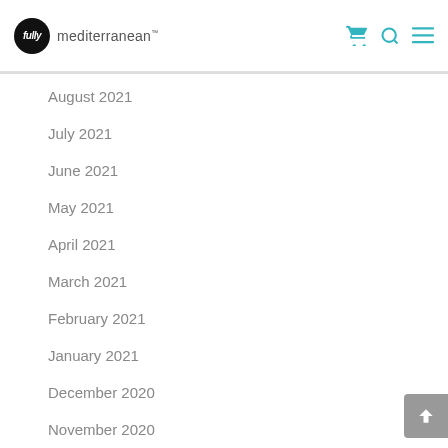fully mediterranean
August 2021
July 2021
June 2021
May 2021
April 2021
March 2021
February 2021
January 2021
December 2020
November 2020
October 2020